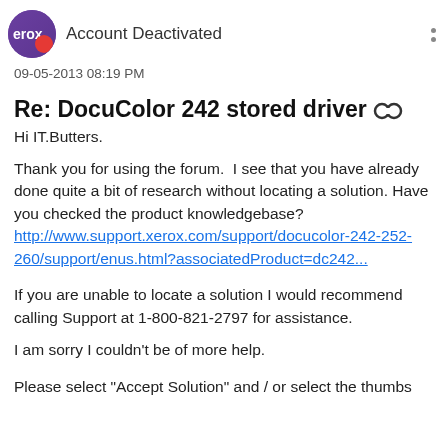Account Deactivated
09-05-2013 08:19 PM
Re: DocuColor 242 stored driver
Hi IT.Butters.
Thank you for using the forum.  I see that you have already done quite a bit of research without locating a solution.  Have you checked the product knowledgebase? http://www.support.xerox.com/support/docucolor-242-252-260/support/enus.html?associatedProduct=dc242...
If you are unable to locate a solution I would recommend calling Support at 1-800-821-2797 for assistance.
I am sorry I couldn't be of more help.
Please select "Accept Solution" and / or select the thumbs